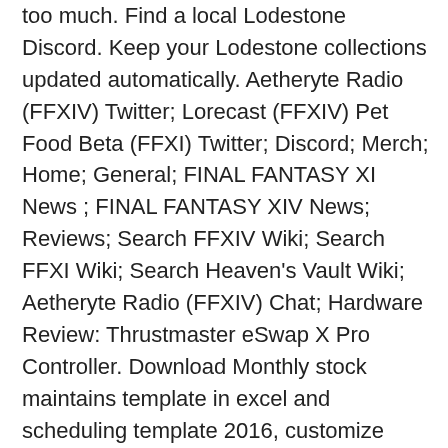too much. Find a local Lodestone Discord. Keep your Lodestone collections updated automatically. Aetheryte Radio (FFXIV) Twitter; Lorecast (FFXIV) Pet Food Beta (FFXI) Twitter; Discord; Merch; Home; General; FINAL FANTASY XI News ; FINAL FANTASY XIV News; Reviews; Search FFXIV Wiki; Search FFXI Wiki; Search Heaven's Vault Wiki; Aetheryte Radio (FFXIV) Chat; Hardware Review: Thrustmaster eSwap X Pro Controller. Download Monthly stock maintains template in excel and scheduling template 2016, customize edition and well design theme oriented. And I'm looking forward to joining the HW support group soon :] How do I claim them? Item Cost Ribbon: 2 Goblin Cap: 1 Fat Chocobo Head: 1 Others. You could buy chocobo heads for your whole squadron. Something like 1 certificate per 100 points. The achievements window is accessible from the Character menu. Final Fantasy 14 is one of the best MMORPG's on the market right now. But I guess you get my point? Beauty Stock Maintain Template...